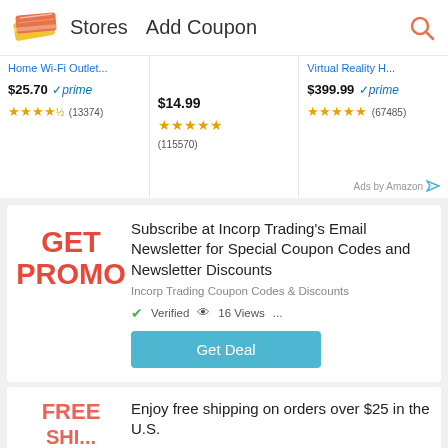[Figure (logo): Coupon website logo with ticket/coupon icon in pink/orange and yellow]
Stores   Add Coupon
[Figure (screenshot): Amazon ads strip showing three products: Home Wi-Fi Outlet ($25.70, prime, 4.5 stars, 13374 reviews), unnamed product ($14.99, 5 stars, 115570 reviews), Virtual Reality H... ($399.99, prime, 5 stars, 67485 reviews). Ads by Amazon label.]
Subscribe at Incorp Trading's Email Newsletter for Special Coupon Codes and Newsletter Discounts
Incorp Trading Coupon Codes & Discounts
Verified  16 Views  ...
Get Deal
Enjoy free shipping on orders over $25 in the U.S.